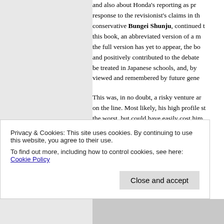and also about Hondas reporting as president, response to the revisionist's claims in the conservative Bungei Shunju, continued the this book, an abbreviated version of a m the full version has yet to appear, the bo and positively contributed to the debate be treated in Japanese schools, and, by viewed and remembered by future gene
This was, in no doubt, a risky venture ar on the line. Most likely, his high profile st the worst, but could have easily cost him contribution to human rights awareness be denied, lending credence as to the gr maintaining a conscientious and fair soc
Privacy & Cookies: This site uses cookies. By continuing to use this website, you agree to their use. To find out more, including how to control cookies, see here: Cookie Policy
Close and accept